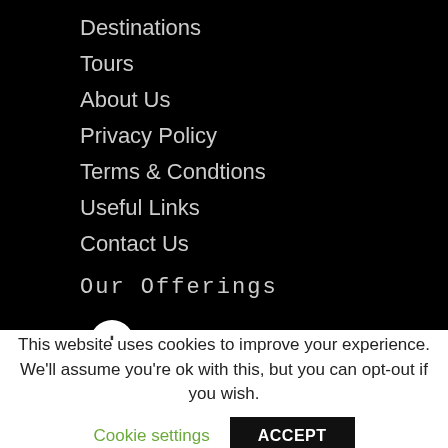Destinations
Tours
About Us
Privacy Policy
Terms & Condtions
Useful Links
Contact Us
Our Offerings
This website uses cookies to improve your experience. We'll assume you're ok with this, but you can opt-out if you wish.
Cookie settings
ACCEPT